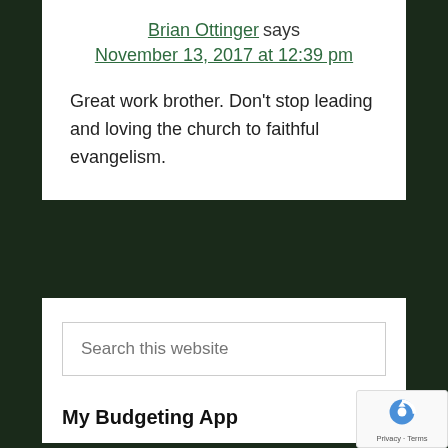Brian Ottinger says
November 13, 2017 at 12:39 pm
Great work brother. Don’t stop leading and loving the church to faithful evangelism.
Search this website
My Budgeting App